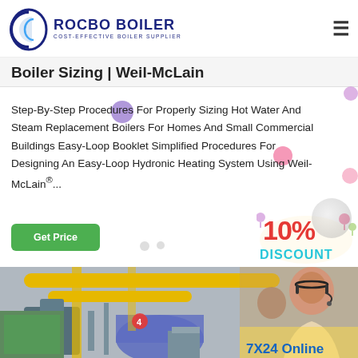ROCBO BOILER — COST-EFFECTIVE BOILER SUPPLIER
Boiler Sizing | Weil-McLain
Step-By-Step Procedures For Properly Sizing Hot Water And Steam Replacement Boilers For Homes And Small Commercial Buildings Easy-Loop Booklet Simplified Procedures For Designing An Easy-Loop Hydronic Heating System Using Weil-McLain®...
[Figure (screenshot): Industrial boiler facility image with yellow pipes and machinery, overlaid with a customer service representative wearing a headset]
7X24 Online